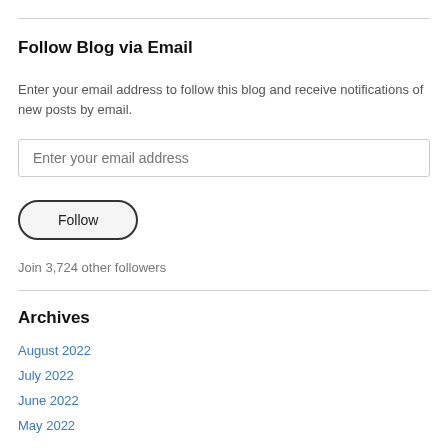Follow Blog via Email
Enter your email address to follow this blog and receive notifications of new posts by email.
[Figure (other): Email address input field with placeholder text 'Enter your email address']
[Figure (other): Follow button with rounded border]
Join 3,724 other followers
Archives
August 2022
July 2022
June 2022
May 2022